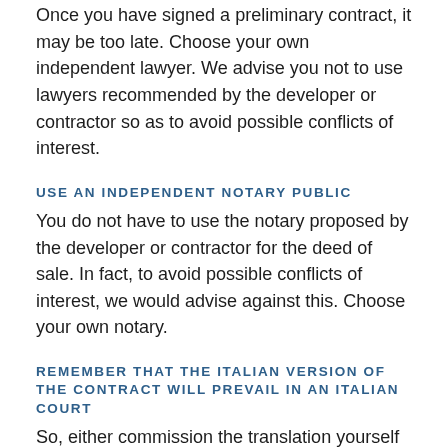Once you have signed a preliminary contract, it may be too late. Choose your own independent lawyer. We advise you not to use lawyers recommended by the developer or contractor so as to avoid possible conflicts of interest.
USE AN INDEPENDENT NOTARY PUBLIC
You do not have to use the notary proposed by the developer or contractor for the deed of sale. In fact, to avoid possible conflicts of interest, we would advise against this. Choose your own notary.
REMEMBER THAT THE ITALIAN VERSION OF THE CONTRACT WILL PREVAIL IN AN ITALIAN COURT
So, either commission the translation yourself from an independent translator or, get any